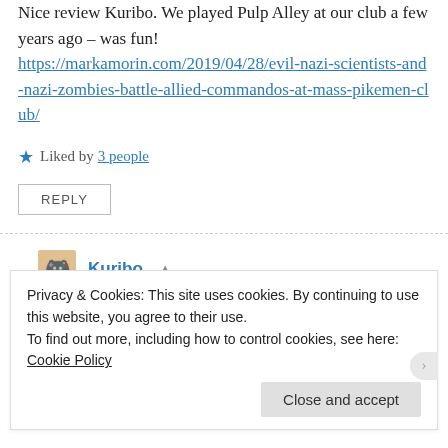Nice review Kuribo. We played Pulp Alley at our club a few years ago – was fun! https://markamorin.com/2019/04/28/evil-nazi-scientists-and-nazi-zombies-battle-allied-commandos-at-mass-pikemen-club/
★ Liked by 3 people
REPLY
Kuribo — July 19, 2021 at 11:31 pm
Privacy & Cookies: This site uses cookies. By continuing to use this website, you agree to their use.
To find out more, including how to control cookies, see here: Cookie Policy
Close and accept